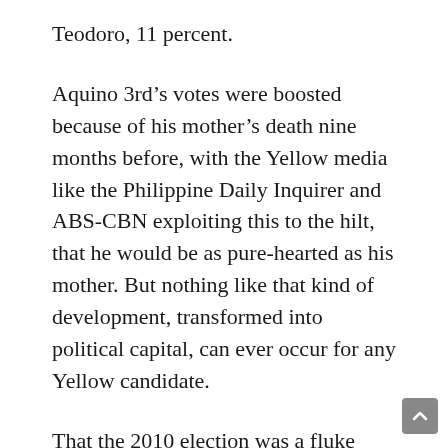Teodoro, 11 percent.
Aquino 3rd's votes were boosted because of his mother's death nine months before, with the Yellow media like the Philippine Daily Inquirer and ABS-CBN exploiting this to the hilt, that he would be as pure-hearted as his mother. But nothing like that kind of development, transformed into political capital, can ever occur for any Yellow candidate.
That the 2010 election was a fluke because of Cory's death, and did not represent a resurgence of Yellow power, became obvious in 2016. Despite the resources of the Aquino 3rd regime and their vast media apparatus, the 2016 election was a rejection of Yellow governance, with Rodrigo